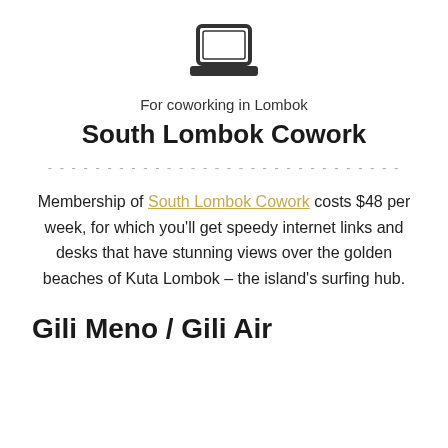[Figure (illustration): Laptop icon (simple line drawing of a laptop computer, dark gray)]
For coworking in Lombok
South Lombok Cowork
Membership of South Lombok Cowork costs $48 per week, for which you'll get speedy internet links and desks that have stunning views over the golden beaches of Kuta Lombok – the island's surfing hub.
Gili Meno / Gili Air